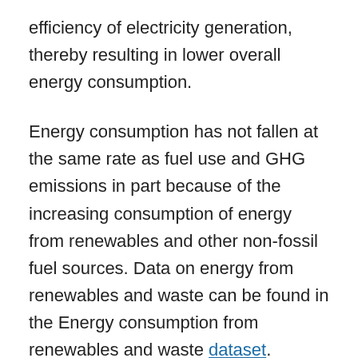efficiency of electricity generation, thereby resulting in lower overall energy consumption.
Energy consumption has not fallen at the same rate as fuel use and GHG emissions in part because of the increasing consumption of energy from renewables and other non-fossil fuel sources. Data on energy from renewables and waste can be found in the Energy consumption from renewables and waste dataset.
A similar story emerges for the manufacturing sector, where there has been a 74% reduction in coal use and a 96% reduction in fuel oil combustion since 1990. This has helped reduce overall reallocated energy consumption (where losses incurred during